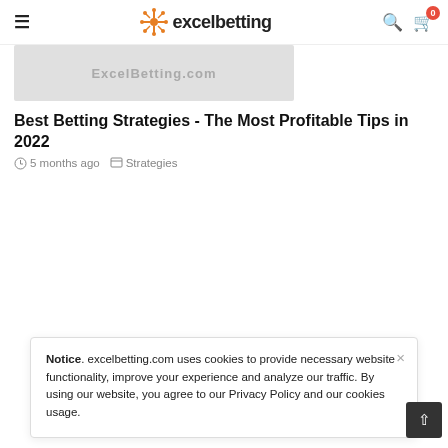excelbetting
[Figure (screenshot): Hero banner image with watermark text 'ExcelBetting.com' on a light grey background]
Best Betting Strategies - The Most Profitable Tips in 2022
5 months ago   Strategies
Notice. excelbetting.com uses cookies to provide necessary website functionality, improve your experience and analyze our traffic. By using our website, you agree to our Privacy Policy and our cookies usage.